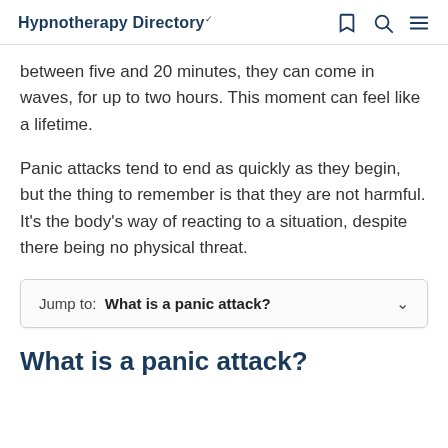Hypnotherapy Directory
between five and 20 minutes, they can come in waves, for up to two hours. This moment can feel like a lifetime.
Panic attacks tend to end as quickly as they begin, but the thing to remember is that they are not harmful. It's the body's way of reacting to a situation, despite there being no physical threat.
Jump to: What is a panic attack?
What is a panic attack?